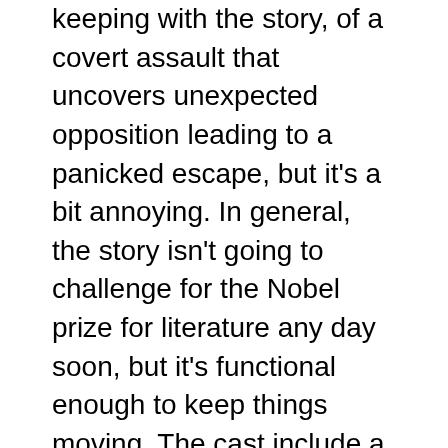keeping with the story, of a covert assault that uncovers unexpected opposition leading to a panicked escape, but it's a bit annoying. In general, the story isn't going to challenge for the Nobel prize for literature any day soon, but it's functional enough to keep things moving. The cast include a requisite bunch of shouty Marines/soldiers, your aforementioned team-mate Psycho (or Jason Statham after escaping from Crank) and some archaeologist's daughter to fill the standard Doctor Who assistant role (look pretty for the dads and get captured now and again). There's a segment after you escape the island, on an aircraft carrier, that takes forever to get going as you tromp around from briefing to briefing, but picks up nicely once it actually gets going. In the final battle you're faced with a giant boss, and you have to take out several turrets before proceeding on to the final vulnerable segments, which is rather satisfyingly Old Skool.
All in all, not a bad game, and I might well have another crack